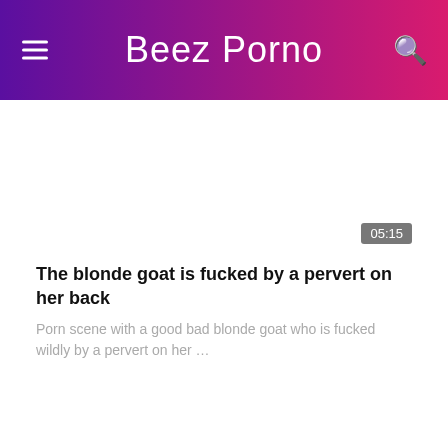Beez Porno
[Figure (screenshot): Blank video thumbnail with time badge 05:15]
The blonde goat is fucked by a pervert on her back
Porn scene with a good bad blonde goat who is fucked wildly by a pervert on her …
[Figure (screenshot): Blank video thumbnail with HD badge and time badge 08:08]
Fast sex in the park with two amateurs